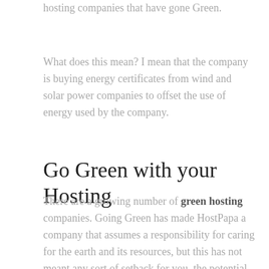hosting companies that have gone Green.
What does this mean? I mean that the company is buying energy certificates from wind and solar power companies to offset the use of energy used by the company.
Go Green with your Hosting
There are a growing number of green hosting companies. Going Green has made HostPapa a company that assumes a responsibility for caring for the earth and its resources, but this has not meant any sort of setback for you, the potential customer. What you do, though, if you create and host your website with HostPapa is participate in this ecologically sensible enterprise while at the same time assure